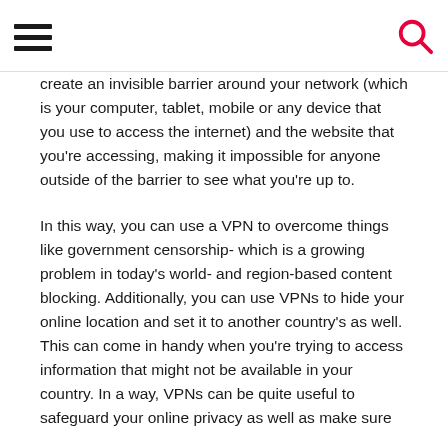[hamburger menu icon] [search icon]
create an invisible barrier around your network (which is your computer, tablet, mobile or any device that you use to access the internet) and the website that you're accessing, making it impossible for anyone outside of the barrier to see what you're up to.
In this way, you can use a VPN to overcome things like government censorship- which is a growing problem in today's world- and region-based content blocking. Additionally, you can use VPNs to hide your online location and set it to another country's as well. This can come in handy when you're trying to access information that might not be available in your country. In a way, VPNs can be quite useful to safeguard your online privacy as well as make sure